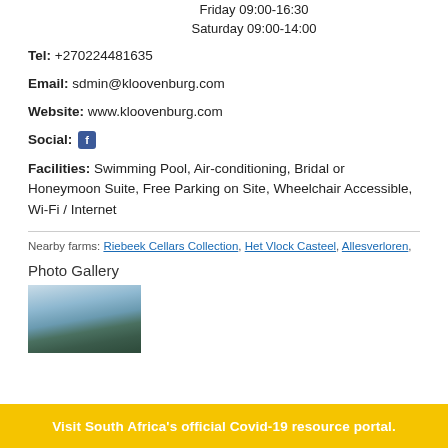Friday 09:00-16:30
Saturday 09:00-14:00
Tel: +270224481635
Email: sdmin@kloovenburg.com
Website: www.kloovenburg.com
Social: [Facebook icon]
Facilities: Swimming Pool, Air-conditioning, Bridal or Honeymoon Suite, Free Parking on Site, Wheelchair Accessible, Wi-Fi / Internet
Nearby farms: Riebeek Cellars Collection, Het Vlock Casteel, Allesverloren,
Photo Gallery
[Figure (photo): Outdoor landscape photo showing a mountain or hill silhouette against a blue/hazy sky]
Visit South Africa's official Covid-19 resource portal.